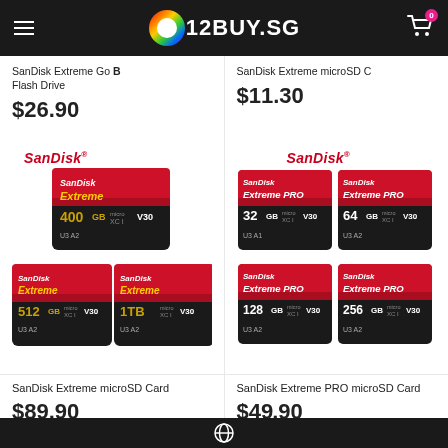12BUY.SG
SanDisk Extreme Go (B) Flash Drive — $26.90 | SanDisk Extreme microSD — $11.30
[Figure (photo): SanDisk Extreme microSD cards: 400GB, 512GB, 1TB — red and gold design with SanDisk branding]
[Figure (photo): SanDisk Extreme PRO microSD cards: 32GB, 64GB, 128GB, 256GB — red and black design with SanDisk branding]
SanDisk Extreme microSD Card
$89.90
SanDisk Extreme PRO microSD Card
$49.90
Globe icon footer